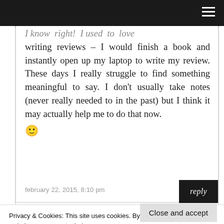I know right! I used to love writing reviews – I would finish a book and instantly open up my laptop to write my review. These days I really struggle to find something meaningful to say. I don't usually take notes (never really needed to in the past) but I think it may actually help me to do that now. 🙂
february 22, 2015, 8:10 pm
reply
Privacy & Cookies: This site uses cookies. By continuing to use this website, you agree to their use.
To find out more, including how to control cookies, see here: Cookie Policy
Close and accept
Enter your comment here...